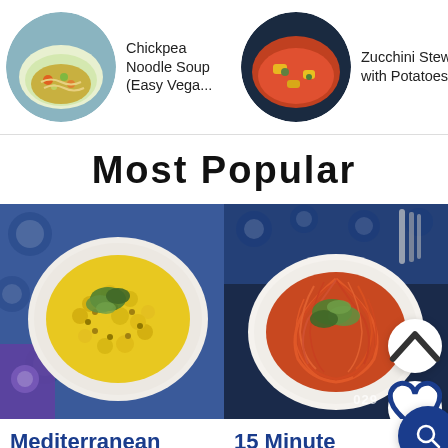[Figure (screenshot): Top carousel bar showing three recipe thumbnails: Chickpea Noodle Soup (Easy Vega...), Zucchini Stew with Potatoes, Vegan Mediterranean Spinach]
Most Popular
[Figure (photo): Photo of Mediterranean Yellow Rice dish in a white bowl with herbs on blue floral cloth]
[Figure (photo): Photo of 15 Minute Tomato Paste pasta dish (orange spaghetti with herbs) on a plate with blue background, UI buttons visible]
Mediterranean
15 Minute
Yellow Rice
Tomato Paste